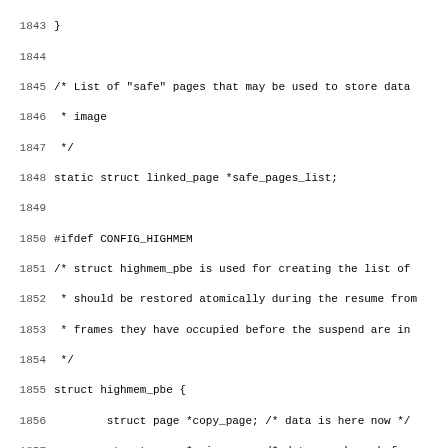Source code listing, lines 1843-1875, showing C code with struct definitions and comments for highmem page handling in a Linux kernel suspend/resume module.